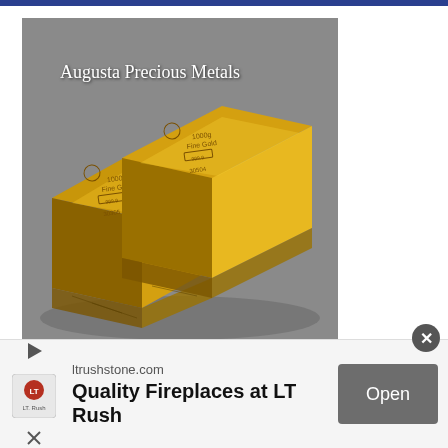[Figure (photo): Three gold bars stacked on a grey surface with text 'Augusta Precious Metals' overlaid in white. The bars are labeled 1000g Fine Gold with serial numbers 30305 and 30504.]
ltrushstone.com
Quality Fireplaces at LT Rush